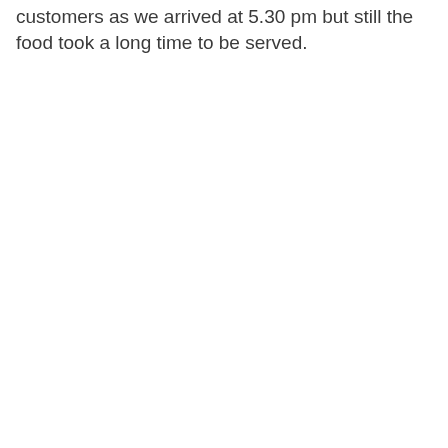customers as we arrived at 5.30 pm but still the food took a long time to be served.